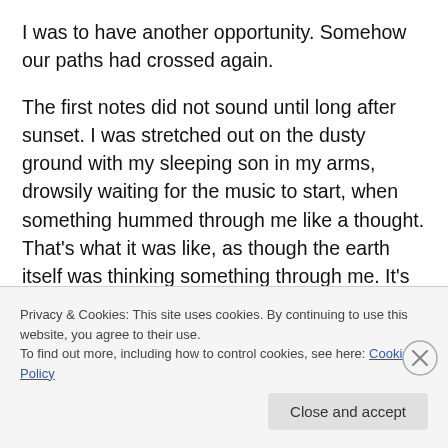I was to have another opportunity.  Somehow our paths had crossed again.
The first notes did not sound until long after sunset.  I was stretched out on the dusty ground with my sleeping son in my arms, drowsily waiting for the music to start, when something hummed through me like a thought.  That's what it was like, as though the earth itself was thinking something through me.  It's awful to try and put it in words, because it is music, but that is as near as I can come.  The notes were low and resonant, like gongs.  They set up a
Privacy & Cookies: This site uses cookies. By continuing to use this website, you agree to their use.
To find out more, including how to control cookies, see here: Cookie Policy